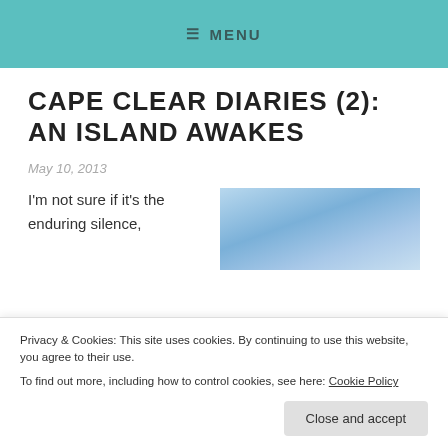≡ MENU
CAPE CLEAR DIARIES (2): AN ISLAND AWAKES
May 10, 2013
I'm not sure if it's the enduring silence,
[Figure (photo): Photograph of a pale blue sky with soft clouds, light and airy tones]
Privacy & Cookies: This site uses cookies. By continuing to use this website, you agree to their use. To find out more, including how to control cookies, see here: Cookie Policy
Close and accept